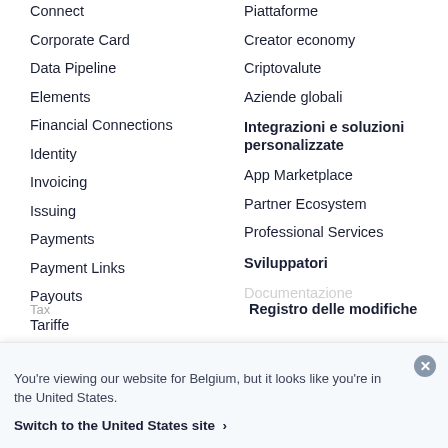Connect
Corporate Card
Data Pipeline
Elements
Financial Connections
Identity
Invoicing
Issuing
Payments
Payment Links
Payouts
Tariffe
Piattaforme
Creator economy
Criptovalute
Aziende globali
Integrazioni e soluzioni personalizzate
App Marketplace
Partner Ecosystem
Professional Services
Sviluppatori
Documentazione
You're viewing our website for Belgium, but it looks like you're in the United States.
Switch to the United States site ›
Registro delle modifiche